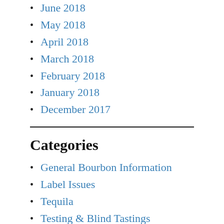June 2018
May 2018
April 2018
March 2018
February 2018
January 2018
December 2017
Categories
General Bourbon Information
Label Issues
Tequila
Testing & Blind Tastings